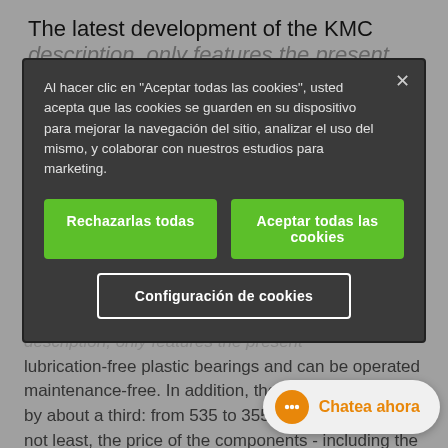The latest development of the KMC
description, they feature the present lubrication-free plastic bearings and can be operated maintenance-free. In addition, the weight is reduced by about a third: from 535 to 355 grams. And last but not least, the price of the components - including the iglidur Q flange b... lower than that of the previous design.
[Figure (screenshot): Cookie consent modal dialog with dark background, Spanish text asking user to accept cookies, two green buttons ('Rechazarlas todas' and 'Aceptar todas las cookies'), and an outline button ('Configuración de cookies'). A close X button is in the top right.]
Chatea ahora